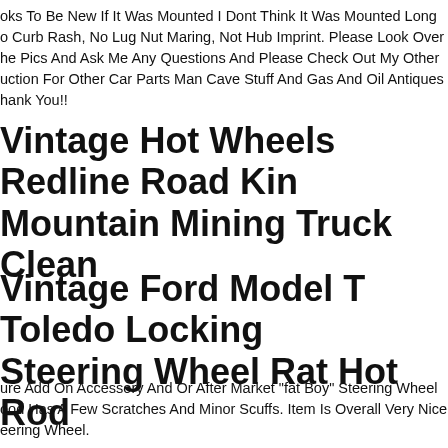oks To Be New If It Was Mounted I Dont Think It Was Mounted Long, o Curb Rash, No Lug Nut Maring, Not Hub Imprint. Please Look Over he Pics And Ask Me Any Questions And Please Check Out My Other uction For Other Car Parts Man Cave Stuff And Gas And Oil Antiques hank You!!
Vintage Hot Wheels Redline Road King Mountain Mining Truck Clean
Vintage Ford Model T Toledo Locking Steering Wheel Rat Hot Rod
ure Add On Accessory And Or After Market "fat Boy" Steering Wheel ood Has A Few Scratches And Minor Scuffs. Item Is Overall Very Nice eering Wheel.